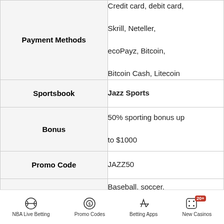|  |  |
| --- | --- |
| Payment Methods | Credit card, debit card, Skrill, Neteller, ecoPayz, Bitcoin, Bitcoin Cash, Litecoin |
| Sportsbook | Jazz Sports |
| Bonus | 50% sporting bonus up to $1000 |
| Promo Code | JAZZ50 |
| Available Markets | Baseball, soccer, tennis, golf, MMA, |
NBA Live Betting | Promo Codes | Betting Apps | New Casinos 20+